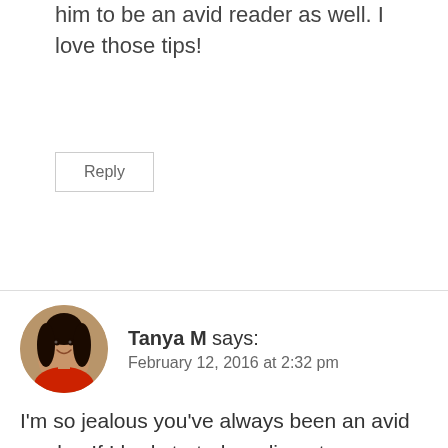him to be an avid reader as well. I love those tips!
Reply
[Figure (photo): Circular avatar photo of Tanya M, a woman with dark hair wearing a red top]
Tanya M says: February 12, 2016 at 2:32 pm
I'm so jealous you've always been an avid reader. If I had started reading at a younger age, I'd have read so many more books by now! My parents were always avid readers, I guess I'm just a late bloomer. Thanks for stopping by Skye, so glad your Jett loves to